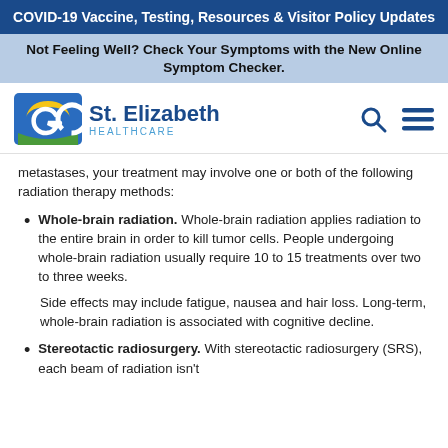COVID-19 Vaccine, Testing, Resources & Visitor Policy Updates
Not Feeling Well? Check Your Symptoms with the New Online Symptom Checker.
[Figure (logo): St. Elizabeth Healthcare logo with search and menu icons]
metastases, your treatment may involve one or both of the following radiation therapy methods:
Whole-brain radiation. Whole-brain radiation applies radiation to the entire brain in order to kill tumor cells. People undergoing whole-brain radiation usually require 10 to 15 treatments over two to three weeks.
Side effects may include fatigue, nausea and hair loss. Long-term, whole-brain radiation is associated with cognitive decline.
Stereotactic radiosurgery. With stereotactic radiosurgery (SRS), each beam of radiation isn't